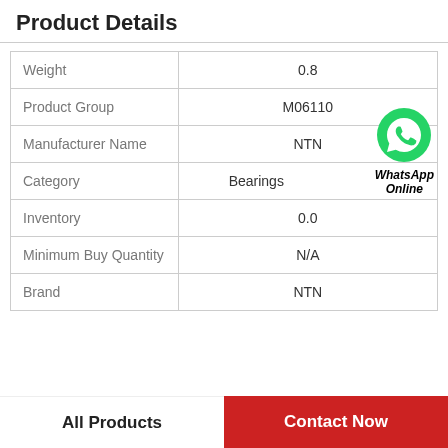Product Details
|  |  |
| --- | --- |
| Weight | 0.8 |
| Product Group | M06110 |
| Manufacturer Name | NTN |
| Category | Bearings |
| Inventory | 0.0 |
| Minimum Buy Quantity | N/A |
| Brand | NTN |
[Figure (logo): WhatsApp green phone icon with text 'WhatsApp Online' in bold italic]
All Products
Contact Now